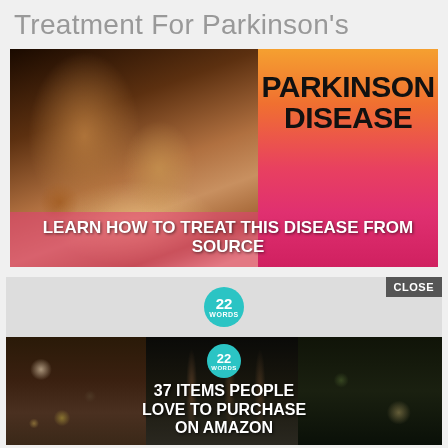Treatment For Parkinson's
[Figure (photo): Composite image showing elderly hands with wrinkled skin on the left side and a gradient orange-to-pink background on the right side with bold text reading 'PARKINSON DISEASE' and overlay text 'LEARN HOW TO TREAT THIS DISEASE FROM SOURCE']
[Figure (screenshot): Advertisement banner showing '22 WORDS' logo badge with a close button, followed by an ad image showing kitchen items (garlic, knives, vegetables) with text '37 ITEMS PEOPLE LOVE TO PURCHASE ON AMAZON']